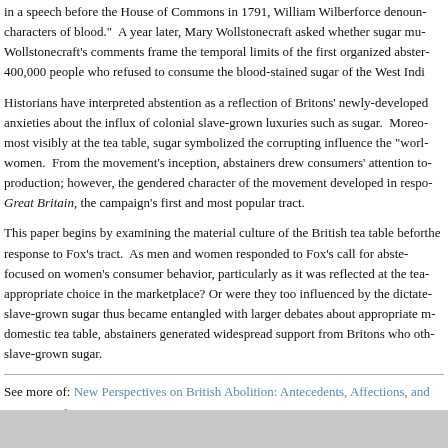in a speech before the House of Commons in 1791, William Wilberforce denounced the characters of blood.”  A year later, Mary Wollstonecraft asked whether sugar mu… Wollstonecraft’s comments frame the temporal limits of the first organized abste… 400,000 people who refused to consume the blood-stained sugar of the West Indi…
Historians have interpreted abstention as a reflection of Britons’ newly-developed anxieties about the influx of colonial slave-grown luxuries such as sugar.  Moreo… most visibly at the tea table, sugar symbolized the corrupting influence the “worl… women.  From the movement’s inception, abstainers drew consumers’ attention to production; however, the gendered character of the movement developed in respo… Great Britain, the campaign’s first and most popular tract.
This paper begins by examining the material culture of the British tea table befor… the response to Fox’s tract.  As men and women responded to Fox’s call for abste… focused on women’s consumer behavior, particularly as it was reflected at the tea… appropriate choice in the marketplace? Or were they too influenced by the dictate… slave-grown sugar thus became entangled with larger debates about appropriate m… domestic tea table, abstainers generated widespread support from Britons who oth… slave-grown sugar.
See more of: New Perspectives on British Abolition: Antecedents, Affections, and…
See more of: AHA Sessions
<< Previous Presentation | Next Pres…